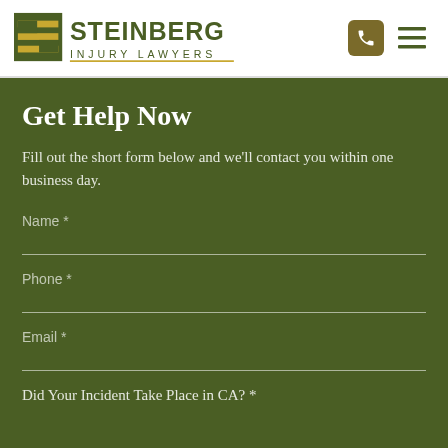[Figure (logo): Steinberg Injury Lawyers logo with stylized S icon and text]
Get Help Now
Fill out the short form below and we’ll contact you within one business day.
Name *
Phone *
Email *
Did Your Incident Take Place in CA? *